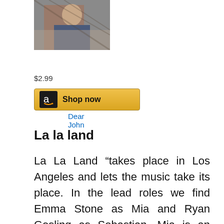[Figure (photo): Movie poster or still image for Dear John film]
Dear John
$2.99
[Figure (other): Amazon Shop now button with Amazon logo]
La la land
La La Land “takes place in Los Angeles and lets the music take its place. In the lead roles we find Emma Stone as Mia and Ryan Gosling as Sebastian. Mia is an actor who never quite succeeds in breaking through, and works part-time as a barista. Sebastian is a jazz pianist